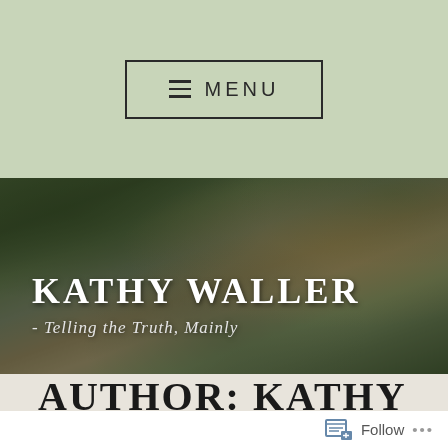≡ MENU
[Figure (photo): Nature/landscape background photo showing a creek or pond with trees reflected in water, green and brown tones. Overlaid with site title text.]
KATHY WALLER
- Telling the Truth, Mainly
AUTHOR: KATHY WALLER
Follow ...